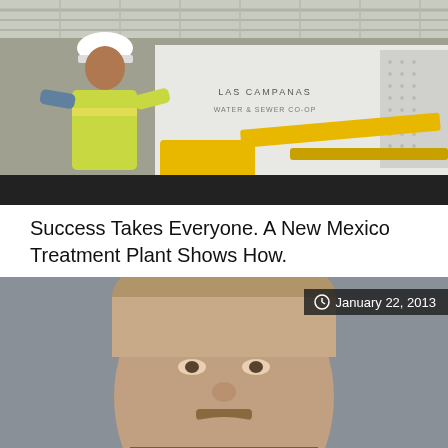[Figure (photo): A worker in a hard hat and yellow safety vest operating yellow industrial equipment inside a large structure. A white machine with 'LAS CAMPANAS WATER & SEWER CO-OP' logo is visible in the background.]
Success Takes Everyone. A New Mexico Treatment Plant Shows How.
[Figure (photo): Headshot of a middle-aged man with light hair and a mustache, smiling slightly, against a gray background. A date badge reading 'January 22, 2013' appears in the upper right.]